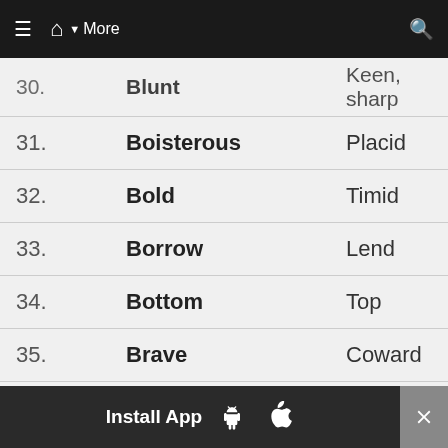≡  🏠  ▾ More   🔍
| No. | Word | Antonym |
| --- | --- | --- |
| 30. | Blunt | Keen, sharp |
| 31. | Boisterous | Placid |
| 32. | Bold | Timid |
| 33. | Borrow | Lend |
| 34. | Bottom | Top |
| 35. | Brave | Coward |
| 36. | Bright | Dull |
| 37. | Broad | Narrow |
| 38. | Build | Destroy |
| 39. | Busy | Idle, lazy |
Install App  [Android]  [Apple]  ×